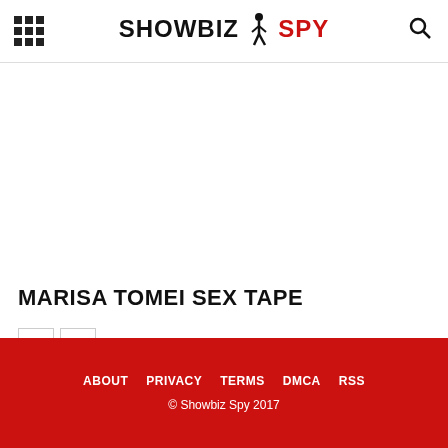SHOWBIZ SPY
MARISA TOMEI SEX TAPE
ABOUT   PRIVACY   TERMS   DMCA   RSS
© Showbiz Spy 2017